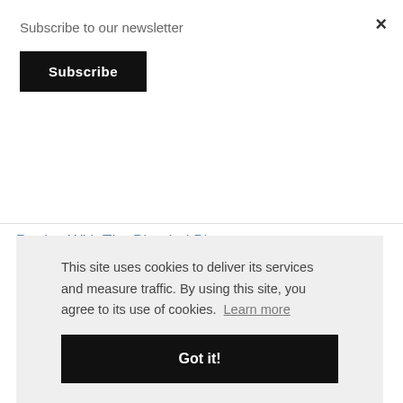Subscribe to our newsletter
Subscribe
×
Parties With The Blended Blog
Friday Favorites #115
A Better Makeup Case
This site uses cookies to deliver its services and measure traffic. By using this site, you agree to its use of cookies.  Learn more
Got it!